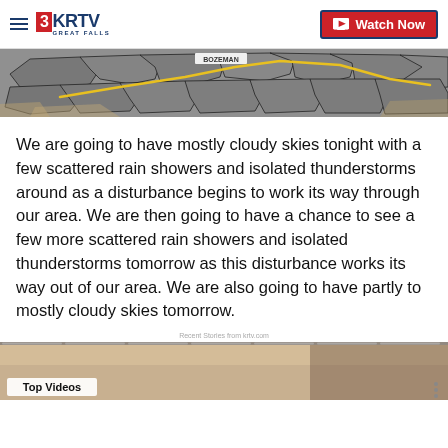3KRTV GREAT FALLS | Watch Now
[Figure (map): Weather map showing Montana region with county boundaries in gray, yellow route line, and BOZEMAN label]
We are going to have mostly cloudy skies tonight with a few scattered rain showers and isolated thunderstorms around as a disturbance begins to work its way through our area. We are then going to have a chance to see a few more scattered rain showers and isolated thunderstorms tomorrow as this disturbance works its way out of our area. We are also going to have partly to mostly cloudy skies tomorrow.
Recent Stories from krtv.com
[Figure (screenshot): Video thumbnail with 'Top Videos' label overlay]